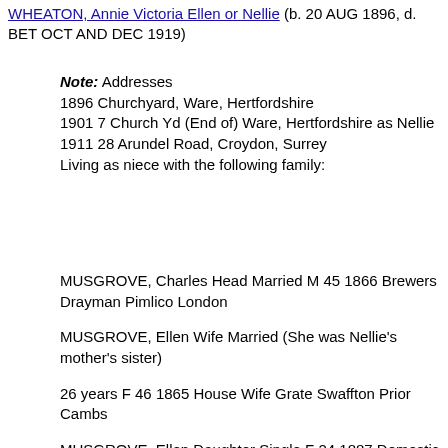WHEATON, Annie Victoria Ellen or Nellie (b. 20 AUG 1896, d. BET OCT AND DEC 1919)
Note: Addresses
1896 Churchyard, Ware, Hertfordshire
1901 7 Church Yd (End of) Ware, Hertfordshire as Nellie
1911 28 Arundel Road, Croydon, Surrey
Living as niece with the following family:
MUSGROVE, Charles Head Married M 45 1866 Brewers Drayman Pimlico London
MUSGROVE, Ellen Wife Married (She was Nellie's mother's sister) 26 years F 46 1865 House Wife Grate Swaffton Prior Cambs
MUSGROVE, Ellen Daughter Single F 24 1887 Domestic Croydon Surrey
MUSGROVE, Charles Son Single M 22 1889 Cochman Croydon Surrey
MUSGROVE, Albert Son Single M 19 1892 Errand Boy Croydon Surrey
MUSGROVE, William Son Single M 11 1900 School Boy Selhurst Surrey
MUSGROVE, Grace Sister Single F 22 1889 Domestic Croydon Surrey